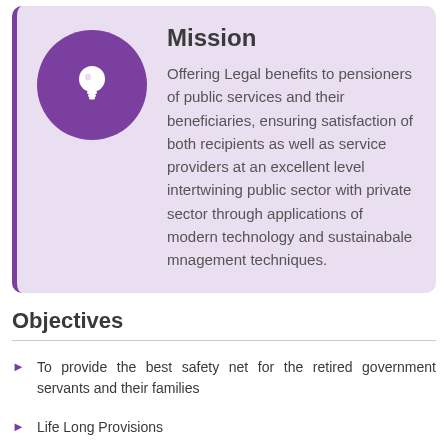[Figure (infographic): Purple circle with white lightbulb icon representing mission]
Mission
Offering Legal benefits to pensioners of public services and their beneficiaries, ensuring satisfaction of both recipients as well as service providers at an excellent level intertwining public sector with private sector through applications of modern technology and sustainabale mnagement techniques.
Objectives
To provide the best safety net for the retired government servants and their families
Life Long Provisions